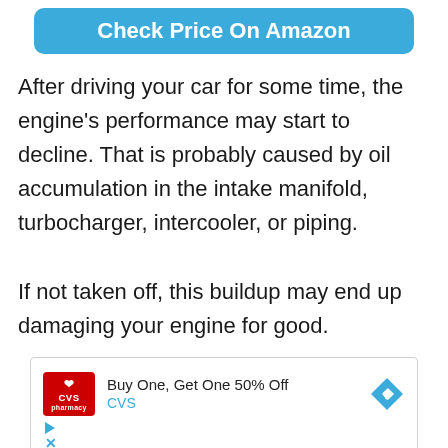[Figure (other): Blue rounded button with white text reading 'Check Price On Amazon']
After driving your car for some time, the engine's performance may start to decline. That is probably caused by oil accumulation in the intake manifold, turbocharger, intercooler, or piping.
If not taken off, this buildup may end up damaging your engine for good.
[Figure (other): Advertisement box: CVS pharmacy logo, text 'Buy One, Get One 50% Off' and 'CVS', with a blue diamond navigation arrow icon, and ad controls (play and close icons) below.]